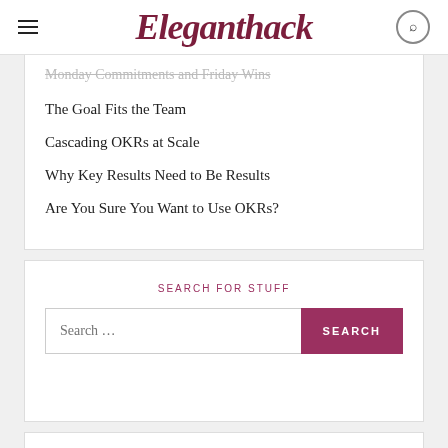Eleganthack
Monday Commitments and Friday Wins
The Goal Fits the Team
Cascading OKRs at Scale
Why Key Results Need to Be Results
Are You Sure You Want to Use OKRs?
SEARCH FOR STUFF
Search ...
STANFORD CLASS BLOGS